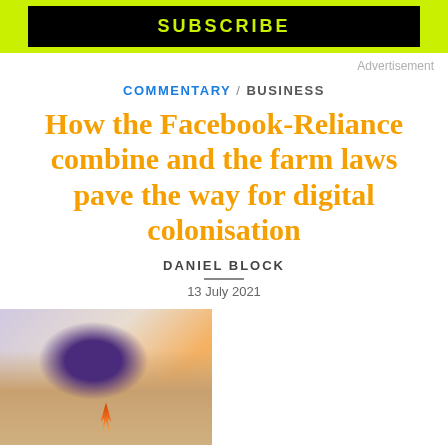[Figure (other): Subscribe banner with black background and lime green border, showing SUBSCRIBE text in lime green]
Advertisement
COMMENTARY / BUSINESS
How the Facebook-Reliance combine and the farm laws pave the way for digital colonisation
DANIEL BLOCK
13 July 2021
[Figure (photo): Photo of a person wearing a purple turban holding a flame/torch, with orange fabric visible in background]